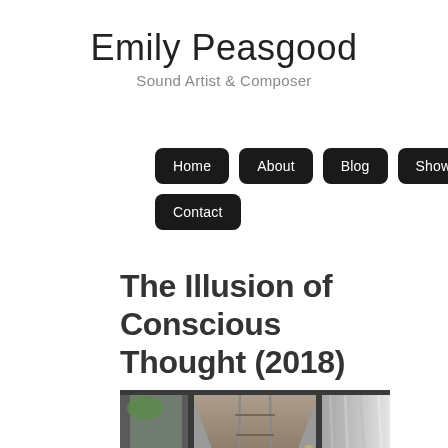Emily Peasgood
Sound Artist & Composer
Home | About | Blog | Shows | Contact
The Illusion of Conscious Thought (2018)
[Figure (photo): View looking up a funicular railway track through glass doors of a train car, with blurred motion on the right side of the frame]